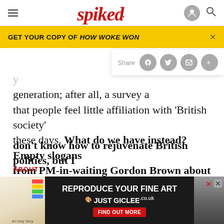spiked
GET YOUR COPY OF HOW WOKE WON
generation; after all, a survey at that people feel little affiliation with 'British society' these days. What do we have instead? Empty slogans from PM-in-waiting Gordon Brown about a new 'style' of politics, and his 'patriotic vision' for governing the country in a way that involves 'responsible, active citizens' more (7). What does any of that mean? Roughly translated, it seems to mean: 'I don't know how to rejuvenate British politics, but I know...
ABOUT
[Figure (screenshot): Advertisement banner: REPRODUCE YOUR FINE ART - JUST GICLEE.co.uk with FIND OUT MORE button]